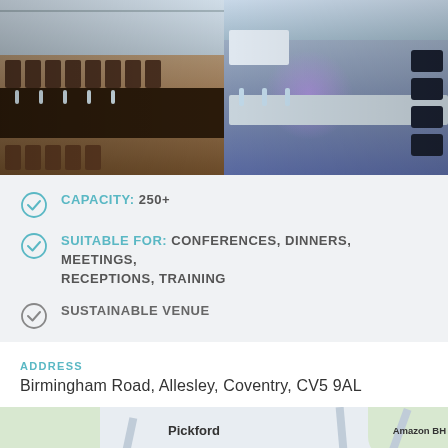[Figure (photo): Two conference room photos side by side: left shows a boardroom with long dark table and chairs, right shows another meeting room with chairs along a long table with a purple light glow]
CAPACITY: 250+
SUITABLE FOR: CONFERENCES, DINNERS, MEETINGS, RECEPTIONS, TRAINING
SUSTAINABLE VENUE
ADDRESS
Birmingham Road, Allesley, Coventry, CV5 9AL
[Figure (map): Google Maps screenshot showing area around Birmingham Road, Allesley, Coventry. Visible labels: Pickford, Sytner Land Rover Coventry, Amazon BH, Birmingham Road label, red map pin, blue location pin.]